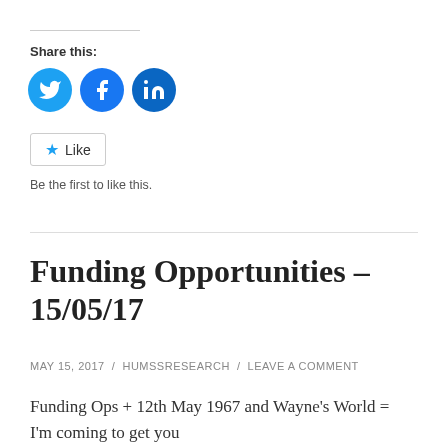Share this:
[Figure (illustration): Three social media icon circles: Twitter (blue bird), Facebook (blue f), LinkedIn (blue in)]
Like
Be the first to like this.
Funding Opportunities – 15/05/17
MAY 15, 2017 / HUMSSRESEARCH / LEAVE A COMMENT
Funding Ops + 12th May 1967 and Wayne's World = I'm coming to get you